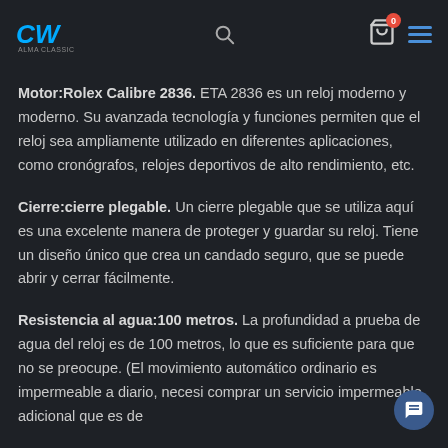CW logo, search icon, cart icon with badge 0, hamburger menu
Motor:Rolex Calibre 2836. ETA 2836 es un reloj moderno y moderno. Su avanzada tecnología y funciones permiten que el reloj sea ampliamente utilizado en diferentes aplicaciones, como cronógrafos, relojes deportivos de alto rendimiento, etc.
Cierre:cierre plegable. Un cierre plegable que se utiliza aquí es una excelente manera de proteger y guardar su reloj. Tiene un diseño único que crea un candado seguro, que se puede abrir y cerrar fácilmente.
Resistencia al agua:100 metros. La profundidad a prueba de agua del reloj es de 100 metros, lo que es suficiente para que no se preocupe. (El movimiento automático ordinario es impermeable a diario, necesi comprar un servicio impermeable adicional que es de